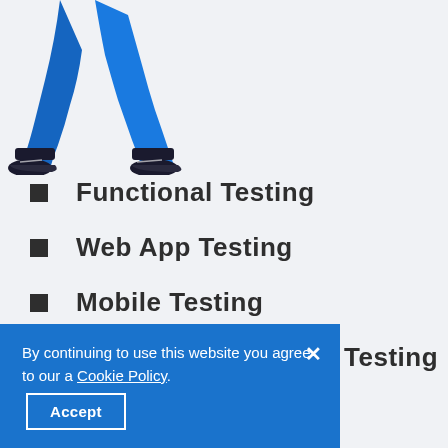[Figure (illustration): Lower body of a person wearing blue jeans and dark sneakers, walking pose, only legs visible from approximately the waist down.]
Functional Testing
Web App Testing
Mobile Testing
Desktop Application Testing
By continuing to use this website you agree to our a Cookie Policy. Accept